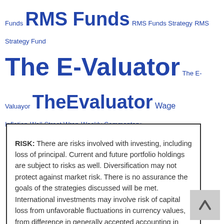Funds RMS Funds RMS Funds Strategy RMS Strategy Fund The E-Valuator The E-Valuayor TheEvaluator Wage Inflation Wall Street Wrap Weekly Commentary
RISK: There are risks involved with investing, including loss of principal. Current and future portfolio holdings are subject to risks as well. Diversification may not protect against market risk. There is no assurance the goals of the strategies discussed will be met. International investments may involve risk of capital loss from unfavorable fluctuations in currency values, from difference in generally accepted accounting in principles or from economic or political instability in other nations. Emerging markets